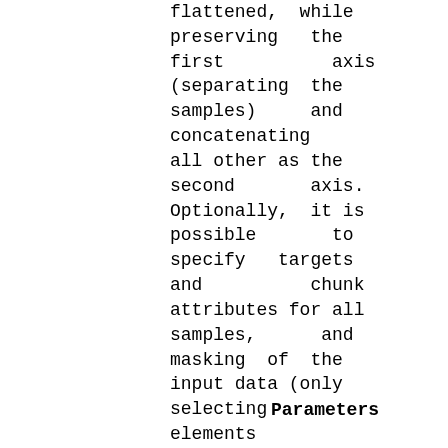flattened, while preserving the first axis (separating the samples) and concatenating all other as the second axis. Optionally, it is possible to specify targets and chunk attributes for all samples, and masking of the input data (only selecting elements corresponding to non-zero mask elements
Parameters